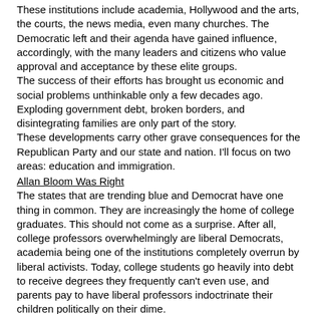These institutions include academia, Hollywood and the arts, the courts, the news media, even many churches. The Democratic left and their agenda have gained influence, accordingly, with the many leaders and citizens who value approval and acceptance by these elite groups.
The success of their efforts has brought us economic and social problems unthinkable only a few decades ago. Exploding government debt, broken borders, and disintegrating families are only part of the story.
These developments carry other grave consequences for the Republican Party and our state and nation. I'll focus on two areas: education and immigration.
Allan Bloom Was Right
The states that are trending blue and Democrat have one thing in common. They are increasingly the home of college graduates. This should not come as a surprise. After all, college professors overwhelmingly are liberal Democrats, academia being one of the institutions completely overrun by liberal activists. Today, college students go heavily into debt to receive degrees they frequently can't even use, and parents pay to have liberal professors indoctrinate their children politically on their dime.
Some 72 percent of college professors describe themselves as liberal. Only 15 percent call themselves conservative. A 2010 analysis by the Intercollegiate Studies Institute concluded that the more college